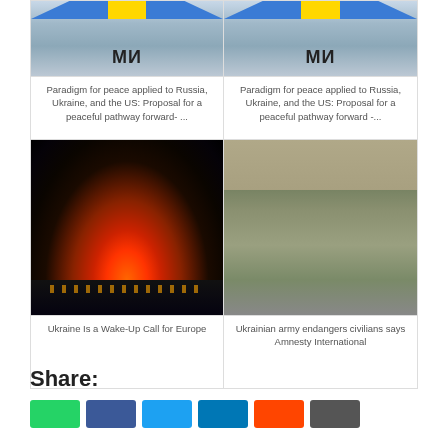[Figure (photo): Image showing a Ukrainian/peace mural with 'МИ' text, blue and yellow colors]
[Figure (photo): Image showing a Ukrainian/peace mural with 'МИ' text, blue and yellow colors]
Paradigm for peace applied to Russia, Ukraine, and the US: Proposal for a peaceful pathway forward- ...
Paradigm for peace applied to Russia, Ukraine, and the US: Proposal for a peaceful pathway forward -...
[Figure (photo): Explosion at night with large orange fireball and smoke cloud]
[Figure (photo): Ukrainian army soldiers on a military vehicle in winter conditions]
Ukraine Is a Wake-Up Call for Europe
Ukrainian army endangers civilians says Amnesty International
Share: